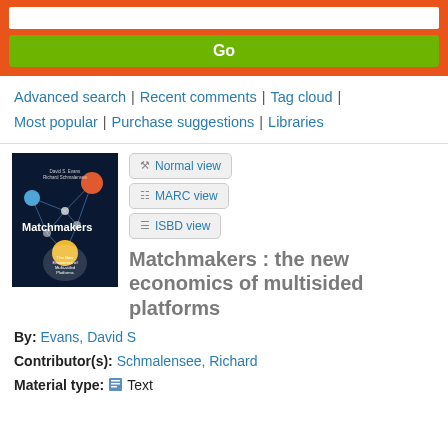[Figure (screenshot): Search bar with orange background and green Go button]
Advanced search | Recent comments | Tag cloud | Most popular | Purchase suggestions | Libraries
[Figure (photo): Book cover: Matchmakers The New Economics of Multisided Platforms by David S. Evans and Richard Schmalensee]
Normal view
MARC view
ISBD view
Matchmakers : the new economics of multisided platforms
By: Evans, David S
Contributor(s): Schmalensee, Richard
Material type: Text